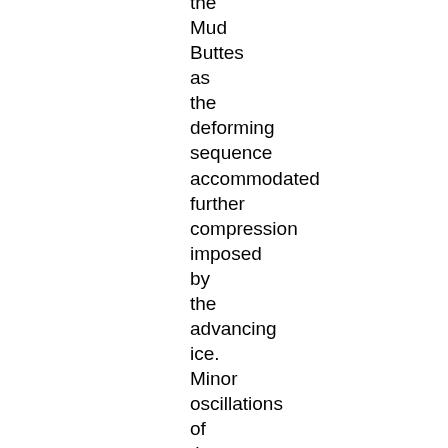the Mud Buttes as the deforming sequence accommodated further compression imposed by the advancing ice. Minor oscillations of the ice margin led